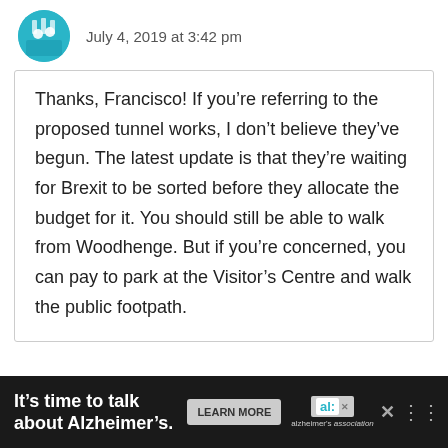July 4, 2019 at 3:42 pm
Thanks, Francisco! If you’re referring to the proposed tunnel works, I don’t believe they’ve begun. The latest update is that they’re waiting for Brexit to be sorted before they allocate the budget for it. You should still be able to walk from Woodhenge. But if you’re concerned, you can pay to park at the Visitor’s Centre and walk the public footpath.
It’s time to talk about Alzheimer’s. LEARN MORE